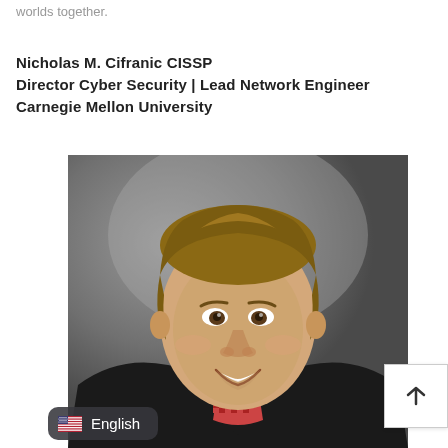worlds together.
Nicholas M. Cifranic CISSP
Director Cyber Security | Lead Network Engineer
Carnegie Mellon University
[Figure (photo): Professional headshot of Nicholas M. Cifranic, a young man with light brown hair, smiling, wearing a dark blazer over a checkered shirt, against a grey gradient background.]
English